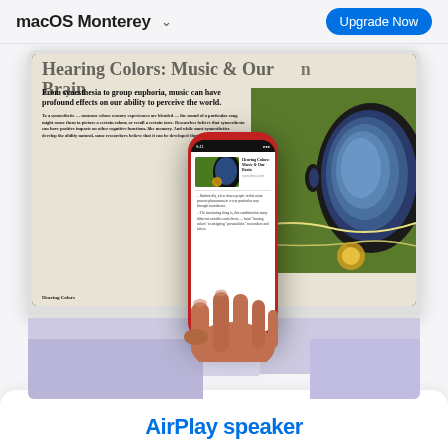macOS Monterey  Upgrade Now
[Figure (screenshot): macOS Monterey product page screenshot showing a Safari browser article 'Hearing Colors: Music & Our Brain' displayed on an iMac with a hand holding an iPhone in front showing the same article in Reader mode]
AirPlay speaker